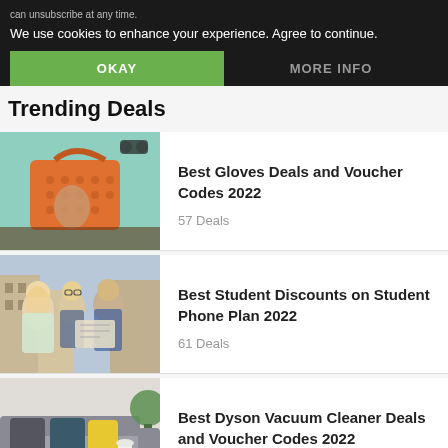can unsubscribe at any time.
We use cookies to enhance your experience. Agree to continue.
OKAY
MORE INFO
Trending Deals
[Figure (photo): Orange handbag and accessories on a teal background]
Best Gloves Deals and Voucher Codes 2022
57 Deals
[Figure (photo): Group of students looking at a map on a street]
Best Student Discounts on Student Phone Plan 2022
61 Deals
[Figure (photo): Living room with grey sofa, cushions, and a yellow pillow]
Best Dyson Vacuum Cleaner Deals and Voucher Codes 2022
88 Deals